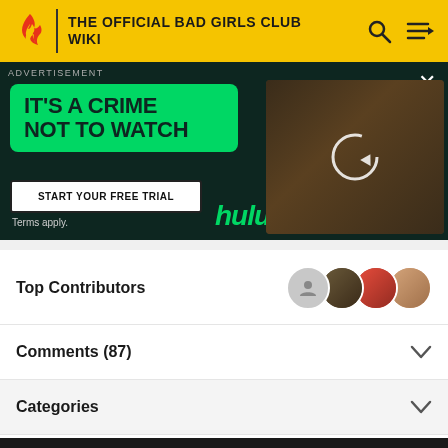THE OFFICIAL BAD GIRLS CLUB WIKI
[Figure (screenshot): Hulu advertisement: dark green background with green box saying IT'S A CRIME NOT TO WATCH, START YOUR FREE TRIAL button, Terms apply, hulu logo in green italic, and a photo of a person in a library setting with a reload icon overlay]
Top Contributors
Comments (87)
Categories
Community content is available under CC-BY-SA unless otherwise noted.